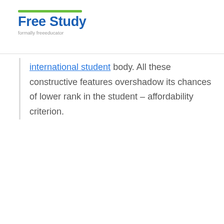Free Study formally freeeducator
international student body. All these constructive features overshadow its chances of lower rank in the student – affordability criterion.